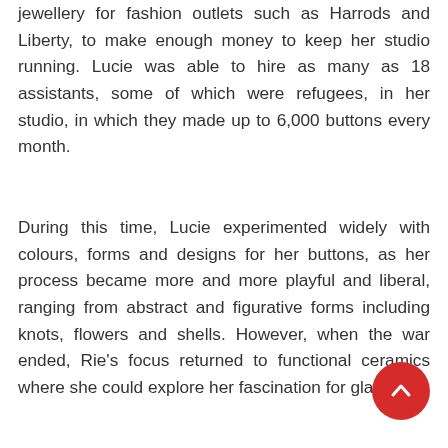jewellery for fashion outlets such as Harrods and Liberty, to make enough money to keep her studio running. Lucie was able to hire as many as 18 assistants, some of which were refugees, in her studio, in which they made up to 6,000 buttons every month.
During this time, Lucie experimented widely with colours, forms and designs for her buttons, as her process became more and more playful and liberal, ranging from abstract and figurative forms including knots, flowers and shells. However, when the war ended, Rie's focus returned to functional ceramics where she could explore her fascination for glazes.